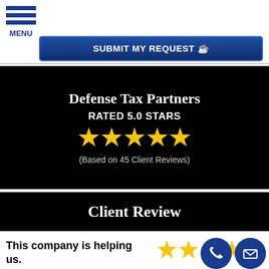MENU
SUBMIT MY REQUEST
Defense Tax Partners
RATED 5.0 STARS
[Figure (infographic): Five gold stars rating]
(Based on 45 Client Reviews)
Client Review
This company is helping us.
[Figure (infographic): Five gold stars rating for client review]
This company is helping us. We recommend the plan on keeping Defense Tax group as our tax